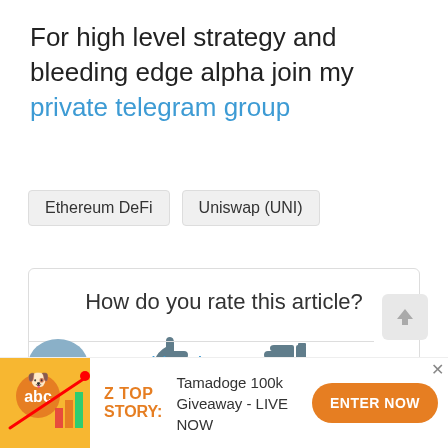For high level strategy and bleeding edge alpha join my private telegram group
Ethereum DeFi
Uniswap (UNI)
How do you rate this article? [thumbs up: 1] [thumbs down: 0]
[Figure (infographic): Ad banner: Z TOP STORY - Tamadoge 100k Giveaway - LIVE NOW with Enter Now button]